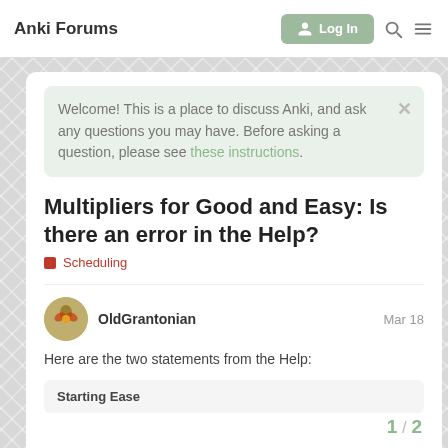Anki Forums
Welcome! This is a place to discuss Anki, and ask any questions you may have. Before asking a question, please see these instructions.
Multipliers for Good and Easy: Is there an error in the Help?
Scheduling
OldGrantonian   Mar 18
Here are the two statements from the Help:
Starting Ease
1 / 2